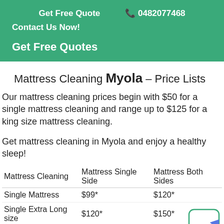Get Free Quote  📞 0482077468
Contact Us Now!
Get Free Quotes
Mattress Cleaning Myola – Price Lists
Our mattress cleaning prices begin with $50 for a single mattress cleaning and range up to $125 for a king size mattress cleaning.
Get mattress cleaning in Myola and enjoy a healthy sleep!
| Mattress Cleaning | Mattress Single Side | Mattress Both Sides |
| --- | --- | --- |
| Single Mattress | $99* | $120* |
| Single Extra Long size | $120* | $150* |
| King Single size | $125* | $135* |